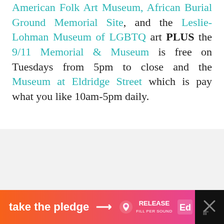American Folk Art Museum, African Burial Ground Memorial Site, and the Leslie-Lohman Museum of LGBTQ art PLUS the 9/11 Memorial & Museum is free on Tuesdays from 5pm to close and the Museum at Eldridge Street which is pay what you like 10am-5pm daily.
[Figure (screenshot): A UI card area with a heart (favorite) button in teal, a share button, and a 'What's Next' card showing a thumbnail and text 'Top 20 Free Things To D...']
[Figure (other): Advertisement banner: 'take the pledge →' with RELEASE and Ed logos on an orange-to-pink gradient, with a close button on the right.]